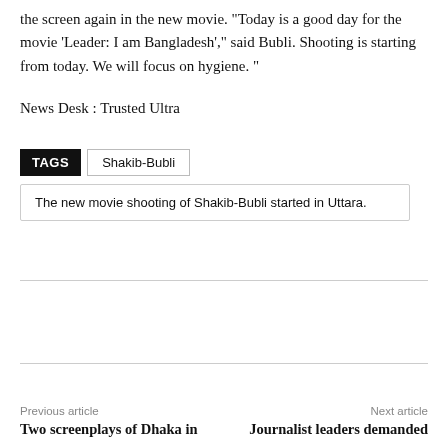the screen again in the new movie. "Today is a good day for the movie 'Leader: I am Bangladesh'," said Bubli. Shooting is starting from today. We will focus on hygiene. "
News Desk : Trusted Ultra
TAGS   Shakib-Bubli
The new movie shooting of Shakib-Bubli started in Uttara.
Previous article
Next article
Two screenplays of Dhaka in
Journalist leaders demanded